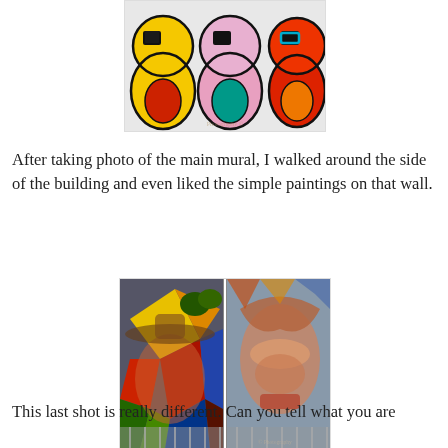[Figure (photo): Colorful graffiti mural showing cartoon-like characters with round heads in yellow, pink, and red/orange colors with black outlines, each with square window-like black openings]
After taking photo of the main mural, I walked around the side of the building and even liked the simple paintings on that wall.
[Figure (photo): Two-panel photo of a large colorful street mural on the side of a building, showing geometric patterns in red, yellow, blue, green with a large face visible]
This last shot is really different. Can you tell what you are looking at here?